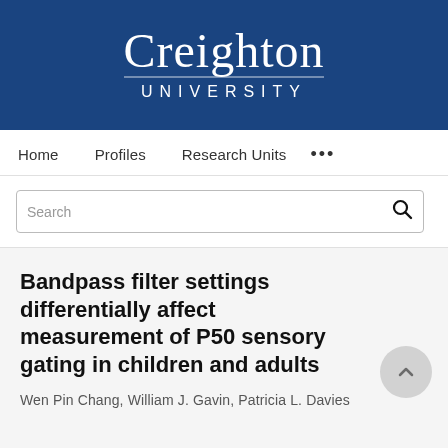[Figure (logo): Creighton University logo — white text on dark blue background with 'Creighton' in serif font and 'UNIVERSITY' in spaced capitals below]
Home   Profiles   Research Units   ...
Search
Bandpass filter settings differentially affect measurement of P50 sensory gating in children and adults
Wen Pin Chang, William J. Gavin, Patricia L. Davies